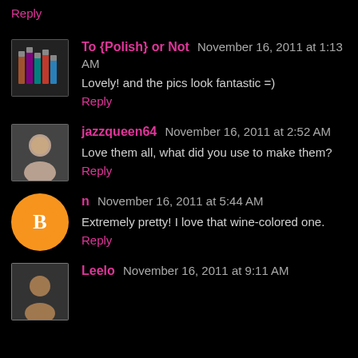Reply
To {Polish} or Not  November 16, 2011 at 1:13 AM
Lovely! and the pics look fantastic =)
Reply
jazzqueen64  November 16, 2011 at 2:52 AM
Love them all, what did you use to make them?
Reply
n  November 16, 2011 at 5:44 AM
Extremely pretty! I love that wine-colored one.
Reply
Leelo  November 16, 2011 at 9:11 AM